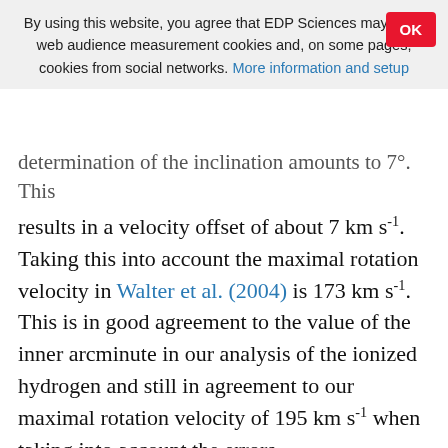By using this website, you agree that EDP Sciences may store web audience measurement cookies and, on some pages, cookies from social networks. More information and setup
determination of the inclination amounts to 7°. This results in a velocity offset of about 7 km s⁻¹. Taking this into account the maximal rotation velocity in Walter et al. (2004) is 173 km s⁻¹. This is in good agreement to the value of the inner arcminute in our analysis of the ionized hydrogen and still in agreement to our maximal rotation velocity of 195 km s⁻¹ when taking into account the errors.
Although optical observations, including our own observation, do not show any evidence of a strong interaction with other galaxies, such as a tidal streams, NGC 4666 cannot be seen as an isolated galaxy.